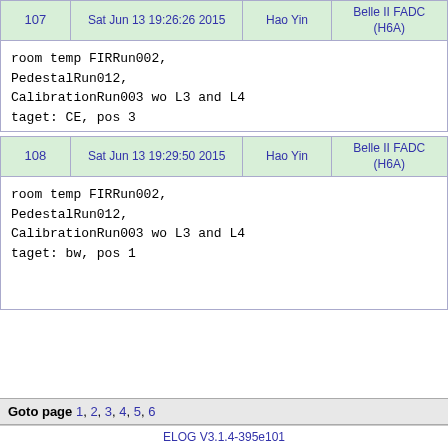| 107 | Sat Jun 13 19:26:26 2015 | Hao Yin | Belle II FADC (H6A) |
| --- | --- | --- | --- |
| room temp

FIRRun002,
PedestalRun012,
CalibrationRun003

wo L3 and L4
taget: CE, pos 3 |
| 108 | Sat Jun 13 19:29:50 2015 | Hao Yin | Belle II FADC (H6A) |
| --- | --- | --- | --- |
| room temp

FIRRun002,
PedestalRun012,
CalibrationRun003

wo L3 and L4
taget: bw, pos 1 |
Goto page 1, 2, 3, 4, 5, 6
ELOG V3.1.4-395e101